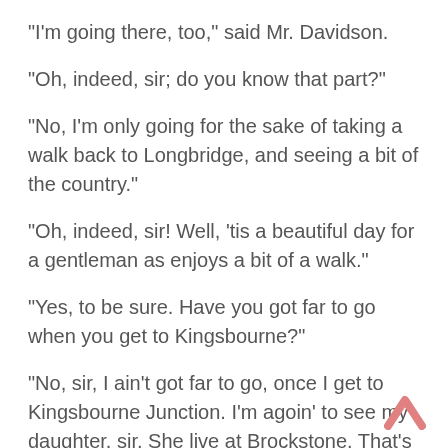“I’m going there, too,” said Mr. Davidson.
“Oh, indeed, sir; do you know that part?”
“No, I’m only going for the sake of taking a walk back to Longbridge, and seeing a bit of the country.”
“Oh, indeed, sir! Well, ‘tis a beautiful day for a gentleman as enjoys a bit of a walk.”
“Yes, to be sure. Have you got far to go when you get to Kingsbourne?”
“No, sir, I ain’t got far to go, once I get to Kingsbourne Junction. I’m agoin’ to see my daughter, sir. She live at Brockstone. That’s about two mile across the fields from what they call Kingsbourne Junction, that is. You’ve got that marked down on your map, I expect, sir.”